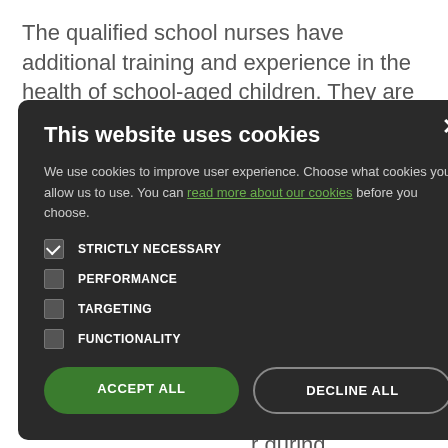The qualified school nurses have additional training and experience in the health of school-aged children. They are the nurses responsible for Carterton Community College, Burford School, and all feeder primary schools.
ll as flu with health e range of health 01865 901 r during
This website uses cookies

We use cookies to improve user experience. Choose what cookies you allow us to use. You can read more about our cookies before you choose.

STRICTLY NECESSARY
PERFORMANCE
TARGETING
FUNCTIONALITY

ACCEPT ALL   DECLINE ALL